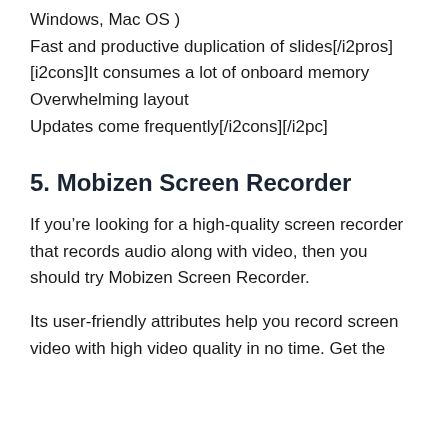Windows, Mac OS )
Fast and productive duplication of slides[/i2pros]
[i2cons]It consumes a lot of onboard memory
Overwhelming layout
Updates come frequently[/i2cons][/i2pc]
5. Mobizen Screen Recorder
If you’re looking for a high-quality screen recorder that records audio along with video, then you should try Mobizen Screen Recorder.
Its user-friendly attributes help you record screen video with high video quality in no time. Get theeen recording in 60 FPS, 1080p resolution, HD